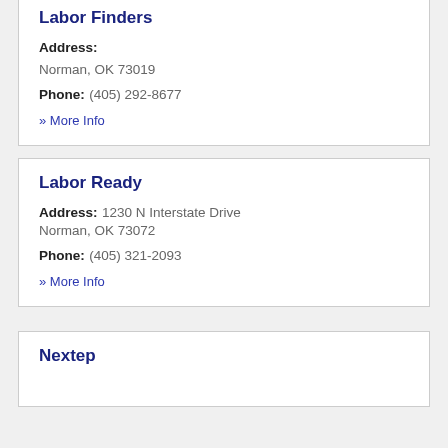Labor Finders
Address: Norman, OK 73019
Phone: (405) 292-8677
» More Info
Labor Ready
Address: 1230 N Interstate Drive Norman, OK 73072
Phone: (405) 321-2093
» More Info
Nextep